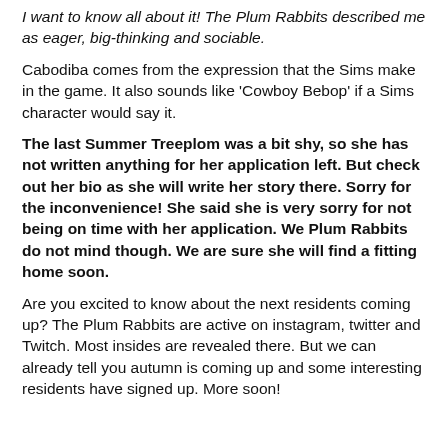I want to know all about it! The Plum Rabbits described me as eager, big-thinking and sociable.
Cabodiba comes from the expression that the Sims make in the game. It also sounds like 'Cowboy Bebop' if a Sims character would say it.
The last Summer Treeplom was a bit shy, so she has not written anything for her application left. But check out her bio as she will write her story there. Sorry for the inconvenience! She said she is very sorry for not being on time with her application. We Plum Rabbits do not mind though. We are sure she will find a fitting home soon.
Are you excited to know about the next residents coming up? The Plum Rabbits are active on instagram, twitter and Twitch. Most insides are revealed there. But we can already tell you autumn is coming up and some interesting residents have signed up. More soon!